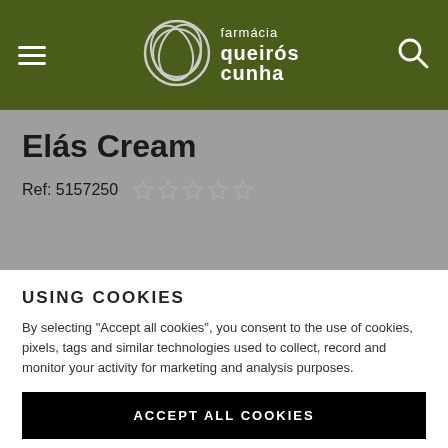farmácia queiros cunha
Elás Cream
Ref: 5157250
USING COOKIES
By selecting "Accept all cookies", you consent to the use of cookies, pixels, tags and similar technologies used to collect, record and monitor your activity for marketing and analysis purposes.
ACCEPT ALL COOKIES
SET COOKIES